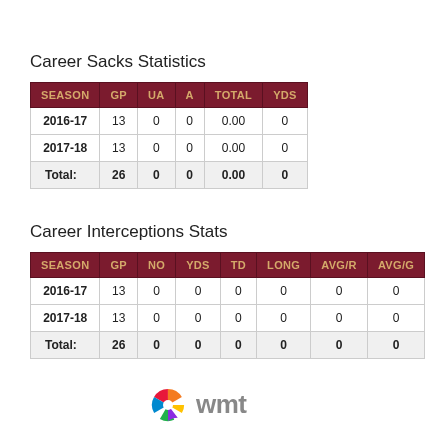Career Sacks Statistics
| SEASON | GP | UA | A | TOTAL | YDS |
| --- | --- | --- | --- | --- | --- |
| 2016-17 | 13 | 0 | 0 | 0.00 | 0 |
| 2017-18 | 13 | 0 | 0 | 0.00 | 0 |
| Total: | 26 | 0 | 0 | 0.00 | 0 |
Career Interceptions Stats
| SEASON | GP | NO | YDS | TD | LONG | AVG/R | AVG/G |
| --- | --- | --- | --- | --- | --- | --- | --- |
| 2016-17 | 13 | 0 | 0 | 0 | 0 | 0 | 0 |
| 2017-18 | 13 | 0 | 0 | 0 | 0 | 0 | 0 |
| Total: | 26 | 0 | 0 | 0 | 0 | 0 | 0 |
[Figure (logo): WMT logo with colorful pinwheel icon and grey 'wmt' text]